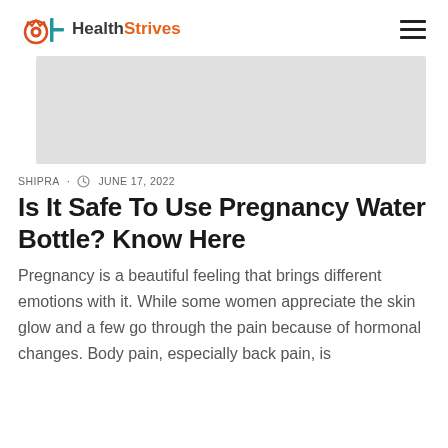HealthStrives
[Figure (photo): Gray placeholder rectangle representing a hero image for the article]
SHIPRA  ·  JUNE 17, 2022
Is It Safe To Use Pregnancy Water Bottle? Know Here
Pregnancy is a beautiful feeling that brings different emotions with it. While some women appreciate the skin glow and a few go through the pain because of hormonal changes. Body pain, especially back pain, is